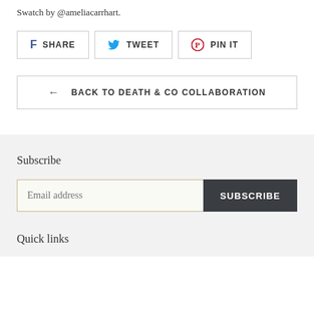Swatch by @ameliacarrhart.
SHARE  TWEET  PIN IT
← BACK TO DEATH & CO COLLABORATION
Subscribe
Email address  SUBSCRIBE
Quick links